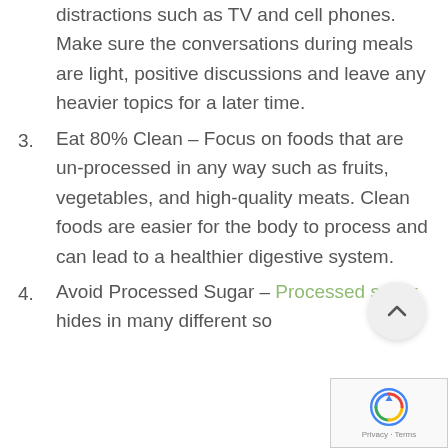distractions such as TV and cell phones. Make sure the conversations during meals are light, positive discussions and leave any heavier topics for a later time.
3. Eat 80% Clean – Focus on foods that are un-processed in any way such as fruits, vegetables, and high-quality meats. Clean foods are easier for the body to process and can lead to a healthier digestive system.
4. Avoid Processed Sugar – Processed sugar hides in many different so…